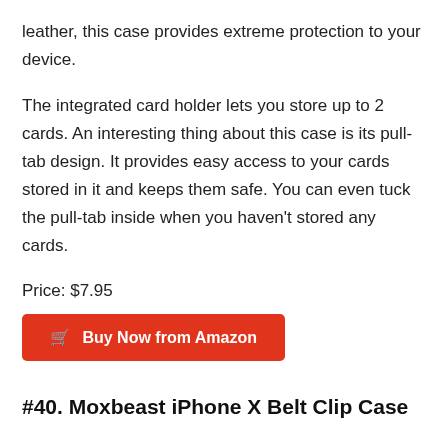leather, this case provides extreme protection to your device.
The integrated card holder lets you store up to 2 cards. An interesting thing about this case is its pull-tab design. It provides easy access to your cards stored in it and keeps them safe. You can even tuck the pull-tab inside when you haven’t stored any cards.
Price: $7.95
Buy Now from Amazon
#40. Moxbeast iPhone X Belt Clip Case